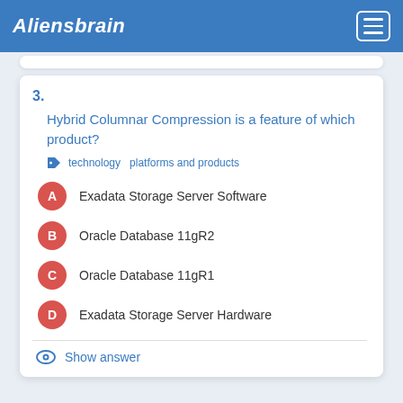Aliensbrain
3.
Hybrid Columnar Compression is a feature of which product?
technology  platforms and products
A  Exadata Storage Server Software
B  Oracle Database 11gR2
C  Oracle Database 11gR1
D  Exadata Storage Server Hardware
Show answer